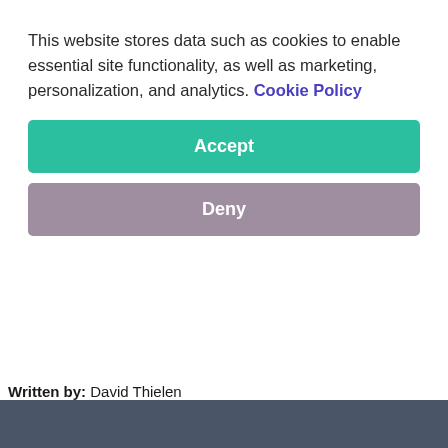This website stores data such as cookies to enable essential site functionality, as well as marketing, personalization, and analytics. Cookie Policy
Accept
Deny
Written by:  David Thielen
President/CEO at Windward Studios
[Figure (screenshot): Footer bar in dark slate color at bottom of page]